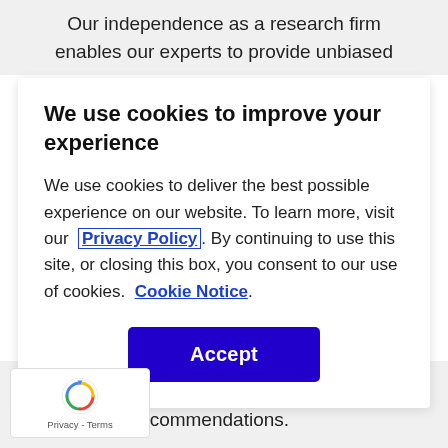Our independence as a research firm enables our experts to provide unbiased
We use cookies to improve your experience
We use cookies to deliver the best possible experience on our website. To learn more, visit our Privacy Policy. By continuing to use this site, or closing this box, you consent to our use of cookies. Cookie Notice.
Accept
distill large volumes of data into clear, precise recommendations.